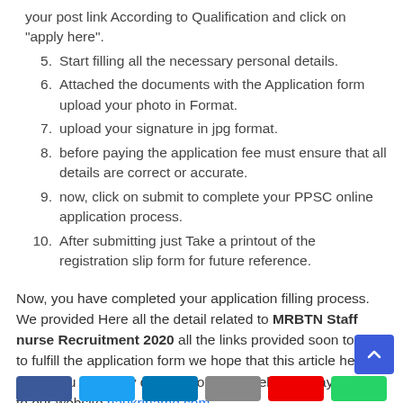your post link According to Qualification and click on "apply here".
5. Start filling all the necessary personal details.
6. Attached the documents with the Application form upload your photo in Format.
7. upload your signature in jpg format.
8. before paying the application fee must ensure that all details are correct or accurate.
9. now, click on submit to complete your PPSC online application process.
10. After submitting just Take a printout of the registration slip form for future reference.
Now, you have completed your application filling process. We provided Here all the detail related to MRBTN Staff nurse Recruitment 2020 all the links provided soon to help to fulfill the application form we hope that this article helps you if you have any queries comment below or stay tuned to our website naukriname.com.